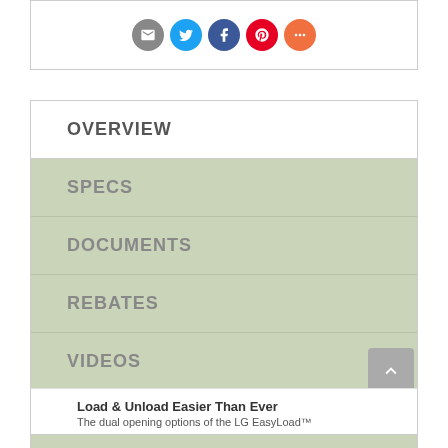[Figure (other): Social sharing icons: email (grey), Twitter (blue), Facebook (dark blue), Pinterest (red), More (orange)]
OVERVIEW
SPECS
DOCUMENTS
REBATES
VIDEOS
DELIVERY
Load & Unload Easier Than Ever
The dual opening options of the LG EasyLoad™